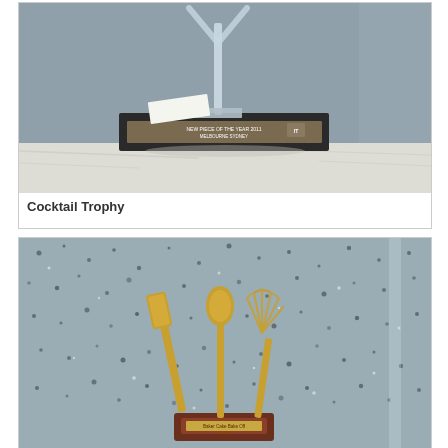[Figure (photo): Photo of a Cocktail Trophy — a clear sculptural glass piece mounted on a dark rectangular base with an engraved plaque, set on a white marble surface against a grey wall.]
Cocktail Trophy
[Figure (photo): Photo of a baking/cooking trophy featuring gold-colored kitchen utensils (spatula, spoon, whisk) mounted upright on a dark wooden base with an engraved plaque, against a grey granite wall. Partially visible text on plaque reads 'Bake Off'.]